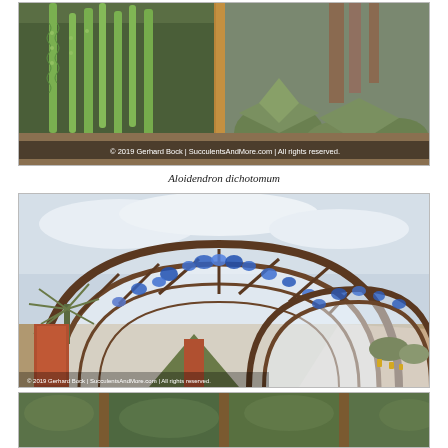[Figure (photo): Photograph of succulent garden with tall columnar cacti, Aloidendron dichotomum, and other succulents. Watermark: © 2019 Gerhard Bock | SucculentsAndMore.com | All rights reserved.]
Aloidendron dichotomum
[Figure (photo): Photograph of a botanical garden structure with large arched greenhouse frames decorated with blue glass art installations. Desert plants including yuccas visible in foreground. Watermark: © 2019 Gerhard Bock | SucculentsAndMore.com | All rights reserved.]
[Figure (photo): Partial photograph of another garden scene, partially visible at bottom of page.]